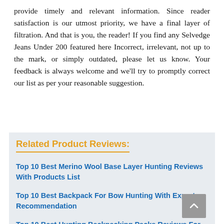provide timely and relevant information. Since reader satisfaction is our utmost priority, we have a final layer of filtration. And that is you, the reader! If you find any Selvedge Jeans Under 200 featured here Incorrect, irrelevant, not up to the mark, or simply outdated, please let us know. Your feedback is always welcome and we'll try to promptly correct our list as per your reasonable suggestion.
Related Product Reviews:
Top 10 Best Merino Wool Base Layer Hunting Reviews With Products List
Top 10 Best Backpack For Bow Hunting With Expert Recommendation
Top 10 Best Hunting Backpacking Packs Reviews For You